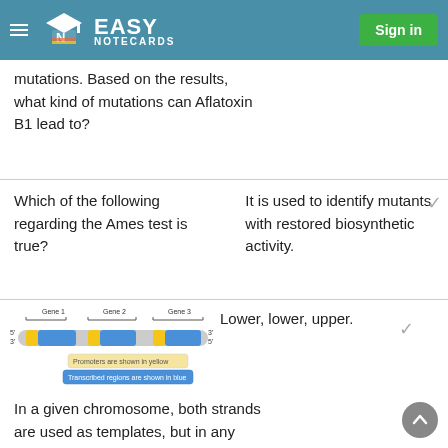Easy Notecards | Sign in
mutations. Based on the results, what kind of mutations can Aflatoxin B1 lead to?
Which of the following regarding the Ames test is true?
It is used to identify mutants with restored biosynthetic activity.
[Figure (illustration): Diagram showing Gene 1, Gene 2, Gene 3 on a chromosome strand with 5' and 3' ends labeled. Promoters are shown in yellow and transcribed regions are shown in blue.]
Lower, lower, upper.
In a given chromosome, both strands are used as templates, but in any one